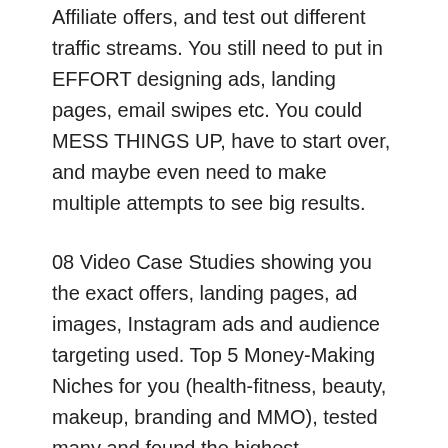Affiliate offers, and test out different traffic streams. You still need to put in EFFORT designing ads, landing pages, email swipes etc. You could MESS THINGS UP, have to start over, and maybe even need to make multiple attempts to see big results.
08 Video Case Studies showing you the exact offers, landing pages, ad images, Instagram ads and audience targeting used. Top 5 Money-Making Niches for you (health-fitness, beauty, makeup, branding and MMO), tested many and found the highest converting, and turned these into copy & paste case studies to guarantee you FAIL-PROOF results.